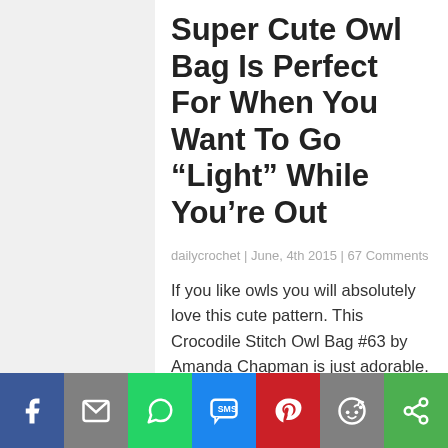Super Cute Owl Bag Is Perfect For When You Want To Go “Light” While You’re Out
dailycrochet | June, 4th 2015 | 67 Comments
If you like owls you will absolutely love this cute pattern. This Crocodile Stitch Owl Bag #63 by Amanda Chapman is just adorable. All you need is just to find...
Search for
1  Crochet Purses Patterns  ❯